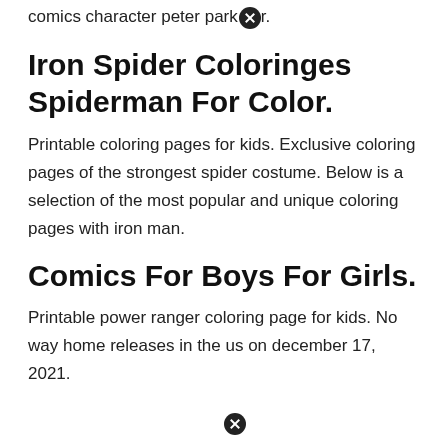is a 2022 american superhero film based on the marvel comics character peter parker.
Iron Spider Coloringes Spiderman For Color.
Printable coloring pages for kids. Exclusive coloring pages of the strongest spider costume. Below is a selection of the most popular and unique coloring pages with iron man.
Comics For Boys For Girls.
Printable power ranger coloring page for kids. No way home releases in the us on december 17, 2021. Provided a checklist for giving spider man coloring